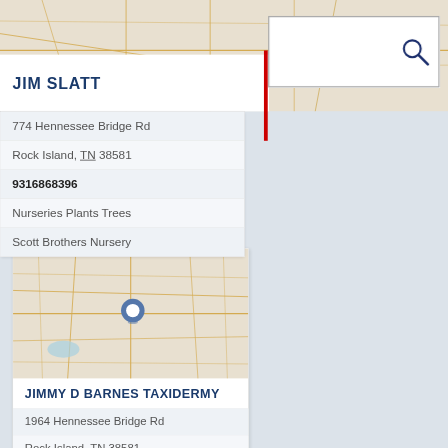[Figure (screenshot): Mobile/web business directory app screenshot showing search bar with red cursor, map thumbnails with blue location pins, and business listing cards for Jim Slatt (partial), Jimmy D Barnes Taxidermy, and a third partially visible listing.]
JIM SLATT
774 Hennessee Bridge Rd
Rock Island, TN 38581
9316868396
Nurseries Plants Trees
Scott Brothers Nursery
JIMMY D BARNES TAXIDERMY
1964 Hennessee Bridge Rd
Rock Island, TN 38581
9316862728
Taxidermists